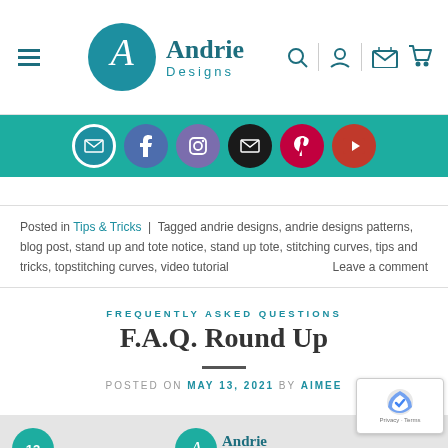Andrie Designs
[Figure (screenshot): Andrie Designs website navigation bar with hamburger menu, logo, search, account, and cart icons]
[Figure (infographic): Teal social media bar with icons for email outline, Facebook, Instagram, email, Pinterest, and YouTube]
Posted in Tips & Tricks | Tagged andrie designs, andrie designs patterns, blog post, stand up and tote notice, stand up tote, stitching curves, tips and tricks, topstitching curves, video tutorial   Leave a comment
FREQUENTLY ASKED QUESTIONS
F.A.Q. Round Up
POSTED ON MAY 13, 2021 BY AIMEE